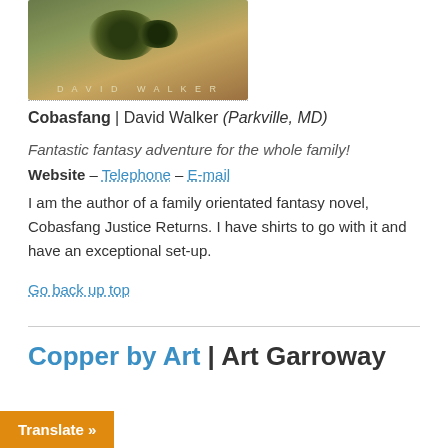[Figure (photo): Book cover image for Cobasfang with author name David Walker at bottom]
Cobasfang | David Walker (Parkville, MD)
Fantastic fantasy adventure for the whole family!
Website – Telephone – E-mail
I am the author of a family orientated fantasy novel, Cobasfang Justice Returns. I have shirts to go with it and have an exceptional set-up.
Go back up top
Copper by Art | Art Garroway
Translate »